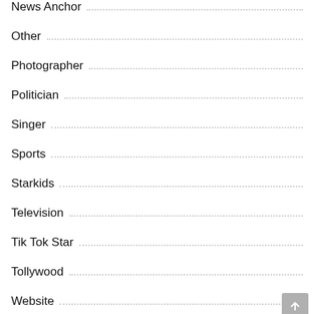News Anchor
Other
Photographer
Politician
Singer
Sports
Starkids
Television
Tik Tok Star
Tollywood
Website
Wrestler